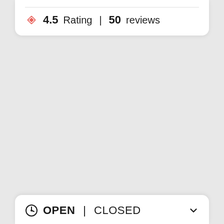4.5 Rating | 50 reviews
OPEN | CLOSED